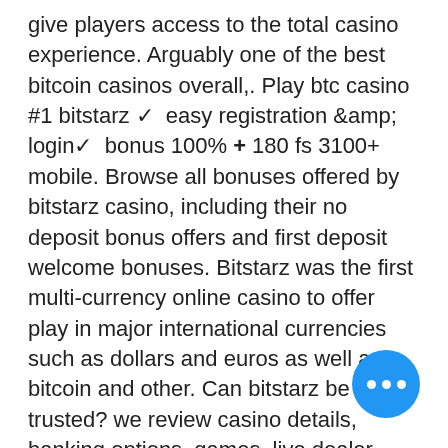give players access to the total casino experience. Arguably one of the best bitcoin casinos overall,. Play btc casino #1 bitstarz ✓ easy registration &amp; login✓ bonus 100% + 180 fs 3100+ mobile. Browse all bonuses offered by bitstarz casino, including their no deposit bonus offers and first deposit welcome bonuses. Bitstarz was the first multi-currency online casino to offer play in major international currencies such as dollars and euros as well as bitcoin and other. Can bitstarz be trusted? we review casino details, banking options, games, live dealer, bonuses, player complaints. Cbm rating in six areas. Launched in 2014 as a pure crypto casino, bitstarz has cemented its place as one of the top casinos for cryptocurrencies. Since then, it has also added fiat
 This currency has a fixed price in doll… and does not follow the price fluctuation of existing cryptocurrencies. bitstarz casino 30…